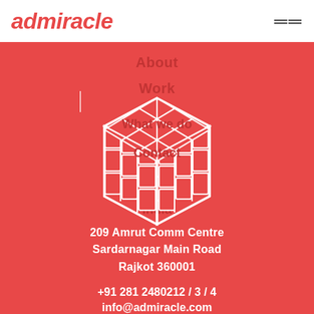admiracle
About
Work
[Figure (illustration): White line-art illustration of a Rubik's cube on a red background, with navigation menu items overlaid: 'What we do', 'Contact', 'India']
209 Amrut Comm Centre
Sardarnagar Main Road
Rajkot 360001
+91 281 2480212 / 3 / 4
info@admiracle.com